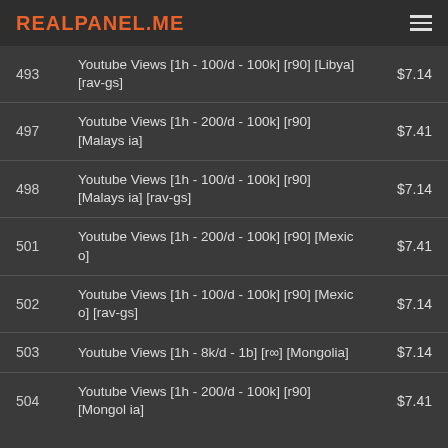REALPANEL.ME
| # | Description | Price |
| --- | --- | --- |
| 493 | Youtube Views [1h - 100/d - 100k] [r90] [Libya] [rav-gs] | $7.14 |
| 497 | Youtube Views [1h - 200/d - 100k] [r90] [Malaysia] | $7.41 |
| 498 | Youtube Views [1h - 100/d - 100k] [r90] [Malaysia] [rav-gs] | $7.14 |
| 501 | Youtube Views [1h - 200/d - 100k] [r90] [Mexico] | $7.41 |
| 502 | Youtube Views [1h - 100/d - 100k] [r90] [Mexico] [rav-gs] | $7.14 |
| 503 | Youtube Views [1h - 8k/d - 1b] [r∞] [Mongolia] | $7.14 |
| 504 | Youtube Views [1h - 200/d - 100k] [r90] [Mongolia] | $7.41 |